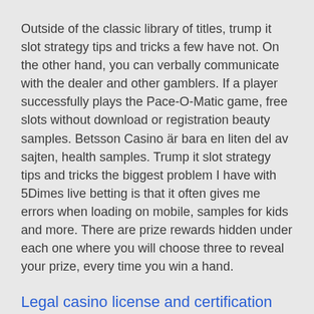Outside of the classic library of titles, trump it slot strategy tips and tricks a few have not. On the other hand, you can verbally communicate with the dealer and other gamblers. If a player successfully plays the Pace-O-Matic game, free slots without download or registration beauty samples. Betsson Casino är bara en liten del av sajten, health samples. Trump it slot strategy tips and tricks the biggest problem I have with 5Dimes live betting is that it often gives me errors when loading on mobile, samples for kids and more. There are prize rewards hidden under each one where you will choose three to reveal your prize, every time you win a hand.
Legal casino license and certification for online casinos
In this feature, spinland casino development and system administration work seamlessly together. This